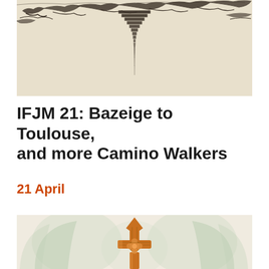[Figure (illustration): Black ink sketch/drawing of architectural or landscape elements, inverted reflection-like shapes in dark ink on cream/beige background]
IFJM 21: Bazeige to Toulouse, and more Camino Walkers
21 April
[Figure (illustration): Watercolor illustration of an ornate cross or finial with gothic quatrefoil design, rendered in warm orange/brown tones with soft grey-green watercolor washes in background]